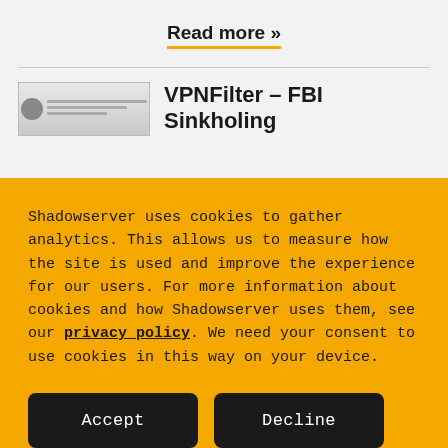Read more »
[Figure (screenshot): Thumbnail image of a document with a seal/logo on the left]
VPNFilter - FBI Sinkholing
Shadowserver uses cookies to gather analytics. This allows us to measure how the site is used and improve the experience for our users. For more information about cookies and how Shadowserver uses them, see our privacy policy. We need your consent to use cookies in this way on your device.
Accept
Decline